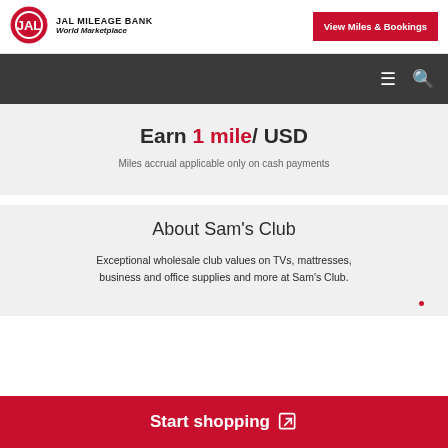JAL MILEAGE BANK World Marketplace
[Figure (logo): JAL Airlines circular red logo with crane]
View Miles & Bookings
Earn 1 mile/ USD
Miles accrual applicable only on cash payments
About Sam's Club
Exceptional wholesale club values on TVs, mattresses, business and office supplies and more at Sam's Club.
Start shopping